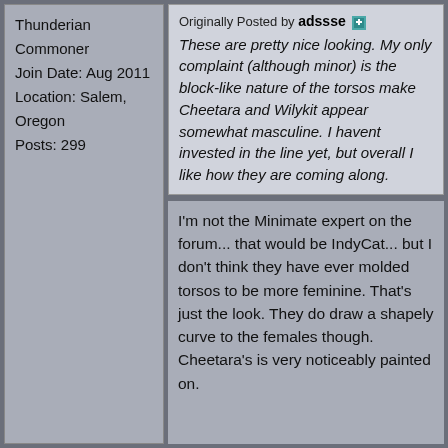Thunderian Commoner
Join Date: Aug 2011
Location: Salem, Oregon
Posts: 299
Originally Posted by adssse
These are pretty nice looking. My only complaint (although minor) is the block-like nature of the torsos make Cheetara and Wilykit appear somewhat masculine. I havent invested in the line yet, but overall I like how they are coming along.
I'm not the Minimate expert on the forum... that would be IndyCat... but I don't think they have ever molded torsos to be more feminine. That's just the look. They do draw a shapely curve to the females though. Cheetara's is very noticeably painted on.